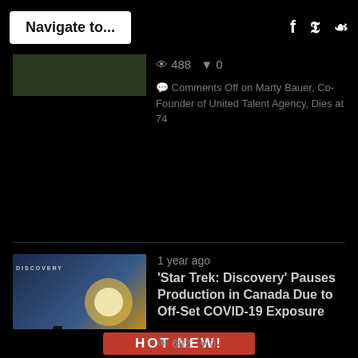Navigate to... [social icons: f, twitter, pinterest]
488   ▼ 0
Comments Off on Marty Bauer, Co-Founder of United Talent Agency, Dies at 74
[Figure (photo): Thumbnail image (partial, dark) for Marty Bauer article]
1 year ago
'Star Trek: Discovery' Pauses Production in Canada Due to Off-Set COVID-19 Exposure
682   0
Comments Off on 'Star Trek: Discovery' Pauses Production in Canada Due to Off-Set COVID-19 Exposure
[Figure (photo): Thumbnail image of Star Trek Discovery promotional art showing figures against a dramatic sky]
HOT NEW!